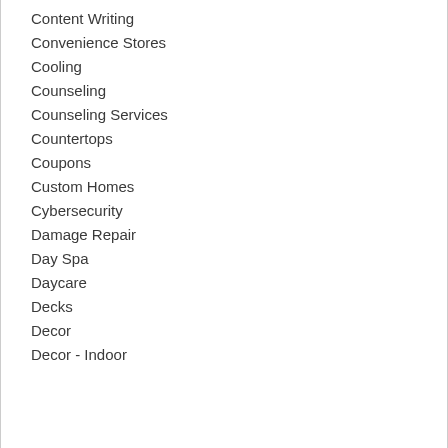Content Writing
Convenience Stores
Cooling
Counseling
Counseling Services
Countertops
Coupons
Custom Homes
Cybersecurity
Damage Repair
Day Spa
Daycare
Decks
Decor
Decor - Indoor